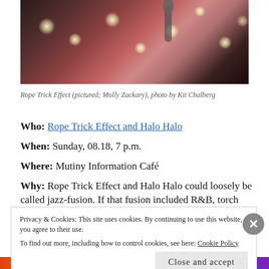[Figure (photo): Close-up photo of a woman singer performing with a microphone, with stage lights in the background. Vivid pink and warm lighting.]
Rope Trick Effect (pictured; Molly Zackary), photo by Kit Chalberg
Who: Rope Trick Effect and Halo Halo
When: Sunday, 08.18, 7 p.m.
Where: Mutiny Information Café
Why: Rope Trick Effect and Halo Halo could loosely be called jazz-fusion. If that fusion included R&B, torch
Privacy & Cookies: This site uses cookies. By continuing to use this website, you agree to their use.
To find out more, including how to control cookies, see here: Cookie Policy
Close and accept